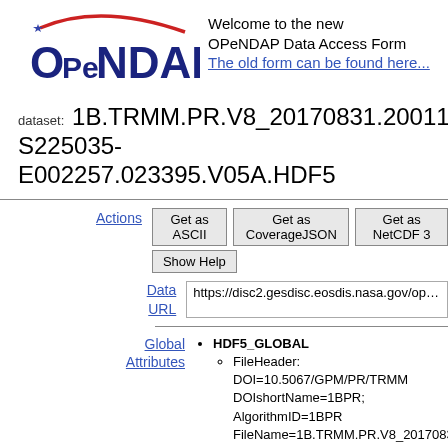[Figure (logo): OPeNDAP logo with red arc and blue star]
Welcome to the new OPeNDAP Data Access Form
The old form can be found here...
dataset: 1B.TRMM.PR.V8_20170831.20011221-S225035-E002257.023395.V05A.HDF5
Actions
Get as ASCII | Get as CoverageJSON | Get as NetCDF 3 | Show Help
Data URL
https://disc2.gesdisc.eosdis.nasa.gov/opendap/TRMM_L1/G...
Global Attributes
HDF5_GLOBAL
FileHeader: DOI=10.5067/GPM/PR/TRMM... DOIshortName=1BPR; AlgorithmID=1BPR... FileName=1B.TRMM.PR.V8_20170831.20... SatelliteName=TRMM; InstrumentName=P... 03T06:04:41.000Z; StartGranuleDateTime=... StopGranuleDateTime=2001-12-22T00:22...